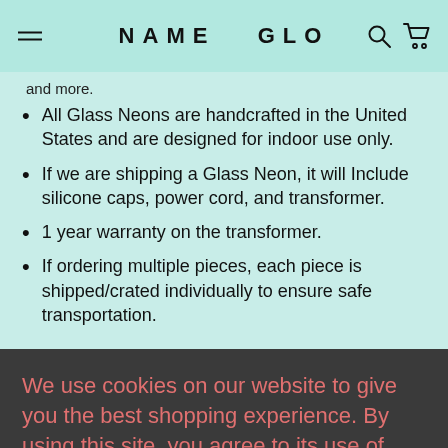NAME GLO
and more.
All Glass Neons are handcrafted in the United States and are designed for indoor use only.
If we are shipping a Glass Neon, it will Include silicone caps, power cord, and transformer.
1 year warranty on the transformer.
If ordering multiple pieces, each piece is shipped/crated individually to ensure safe transportation.
We use cookies on our website to give you the best shopping experience. By using this site, you agree to its use of cookies.
Type: GLASS NEON